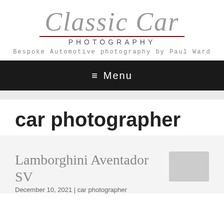[Figure (logo): Classic Car Photography logo with large serif text 'Classic Car', red underline, 'PHOTOGRAPHY' in small caps, and tagline 'Bespoke Automotive photography by Paul Ward']
≡ Menu
car photographer
Lamborghini Aventador SV
December 10, 2021 | car photographer